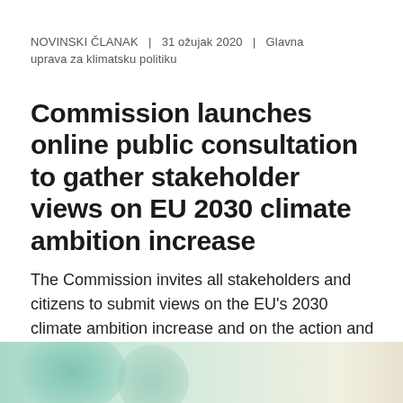NOVINSKI ČLANAK  |  31 ožujak 2020  |  Glavna uprava za klimatsku politiku
Commission launches online public consultation to gather stakeholder views on EU 2030 climate ambition increase
The Commission invites all stakeholders and citizens to submit views on the EU's 2030 climate ambition increase and on the action and policy design necessary for deeper greenhouse gas emission reductions.
[Figure (illustration): Decorative background image with teal/green gradient and circular shapes at the bottom of the page]